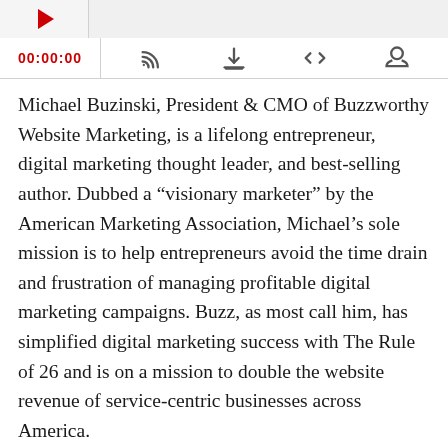[Figure (screenshot): Podcast player top bar with thumbnail placeholder and gray header area]
[Figure (screenshot): Podcast player controls bar showing timestamp 00:00:00 in red, and icons for RSS feed, download, embed code, and share]
Michael Buzinski, President & CMO of Buzzworthy Website Marketing, is a lifelong entrepreneur, digital marketing thought leader, and best-selling author. Dubbed a “visionary marketer” by the American Marketing Association, Michael’s sole mission is to help entrepreneurs avoid the time drain and frustration of managing profitable digital marketing campaigns. Buzz, as most call him, has simplified digital marketing success with The Rule of 26 and is on a mission to double the website revenue of service-centric businesses across America.